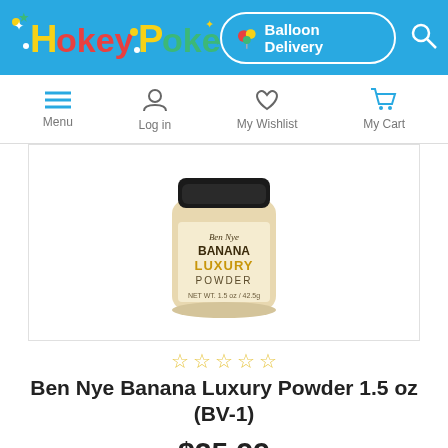Hokey Pokey — Balloon Delivery — Search
[Figure (screenshot): Navigation bar with Menu, Log in, My Wishlist, My Cart icons]
[Figure (photo): Ben Nye Banana Luxury Powder 1.5 oz (BV-1) product image — a small jar with black lid and cream/gold colored body]
☆ ☆ ☆ ☆ ☆
Ben Nye Banana Luxury Powder 1.5 oz (BV-1)
$25.99
ADD TO CART